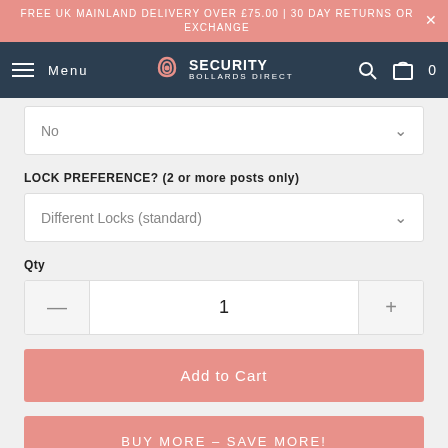FREE UK MAINLAND DELIVERY OVER £75.00 | 30 DAY RETURNS OR EXCHANGE
Menu | SECURITY BOLLARDS DIRECT | 0
No
LOCK PREFERENCE? (2 or more posts only)
Different Locks (standard)
Qty
1
Add to Cart
BUY MORE – SAVE MORE!
| BUY | SAVE |
| --- | --- |